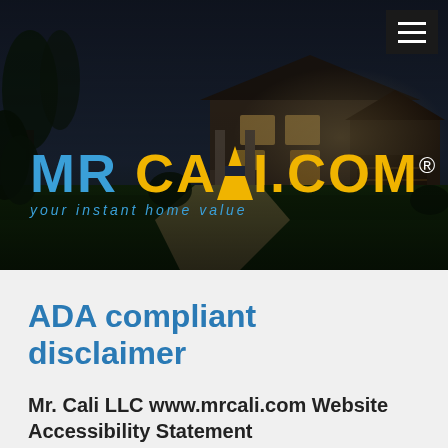[Figure (photo): Hero banner image of a California-style home at dusk with lawn and driveway, overlaid with MR CALI.COM logo and tagline 'your instant home value', and a hamburger menu button in the top right corner.]
ADA compliant disclaimer
Mr. Cali LLC www.mrcali.com Website Accessibility Statement